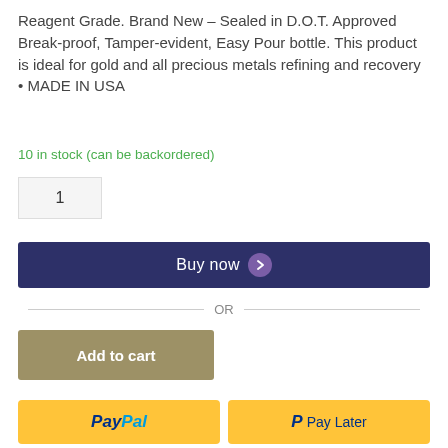Reagent Grade. Brand New – Sealed in D.O.T. Approved Break-proof, Tamper-evident, Easy Pour bottle. This product is ideal for gold and all precious metals refining and recovery • MADE IN USA
10 in stock (can be backordered)
1
Buy now
— OR —
Add to cart
PayPal
Pay Later